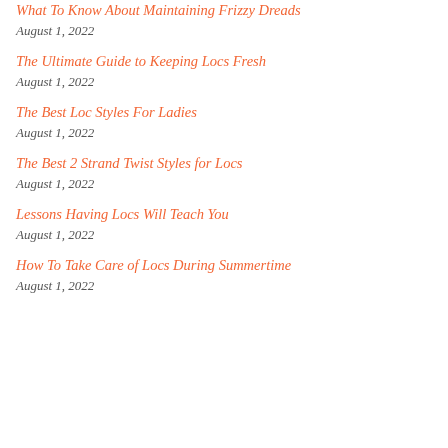What To Know About Maintaining Frizzy Dreads
August 1, 2022
The Ultimate Guide to Keeping Locs Fresh
August 1, 2022
The Best Loc Styles For Ladies
August 1, 2022
The Best 2 Strand Twist Styles for Locs
August 1, 2022
Lessons Having Locs Will Teach You
August 1, 2022
How To Take Care of Locs During Summertime
August 1, 2022